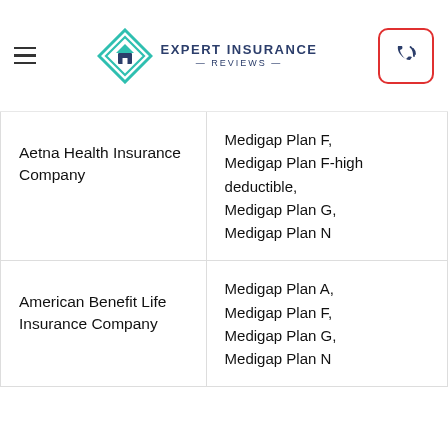Expert Insurance Reviews
| Company | Plans |
| --- | --- |
| Aetna Health Insurance Company | Medigap Plan F, Medigap Plan F-high deductible, Medigap Plan G, Medigap Plan N |
| American Benefit Life Insurance Company | Medigap Plan A, Medigap Plan F, Medigap Plan G, Medigap Plan N |